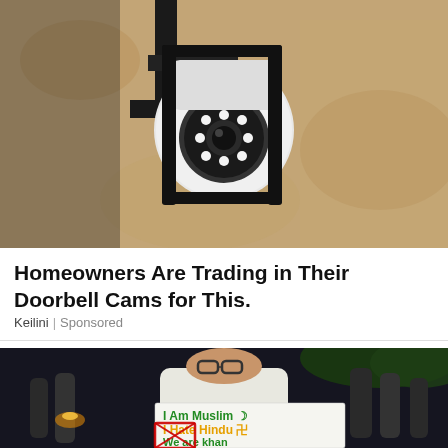[Figure (photo): Security camera mounted on a rough stone/concrete wall, white dome-style camera with black metal bracket and LED lights visible]
Homeowners Are Trading in Their Doorbell Cams for This.
Keilini | Sponsored
[Figure (photo): A woman wearing glasses holds a sign reading 'I Am Muslim, I Hate Hindu, We are khan' with a crescent symbol and swastika visible. The image appears to be manipulated/digitally altered. Background shows a nighttime crowd scene.]